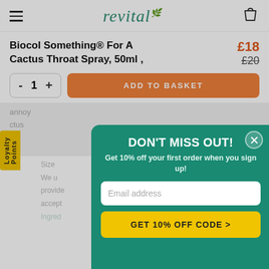revital
Biocol Something® For A Cactus Throat Spray, 50ml ,
£18  £20
- 1 +  ADD TO BASKET
Loyalty Points
annoy
ctus
du
ra
Size
We u provide accept
Ingred
DON'T MISS OUT!
Get 10% off your first order when you sign up!
Email address
GET 10% OFF CODE >